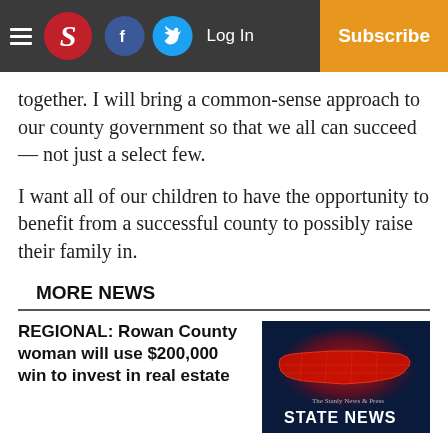S | Log In | Subscribe (navigation bar with Facebook and Twitter icons)
together. I will bring a common-sense approach to our county government so that we all can succeed — not just a select few.
I want all of our children to have the opportunity to benefit from a successful county to possibly raise their family in.
MORE NEWS
REGIONAL: Rowan County woman will use $200,000 win to invest in real estate
[Figure (photo): Red glowing map of North Carolina on dark blue background with 'The Stanly News & Press STATE NEWS' text overlay]